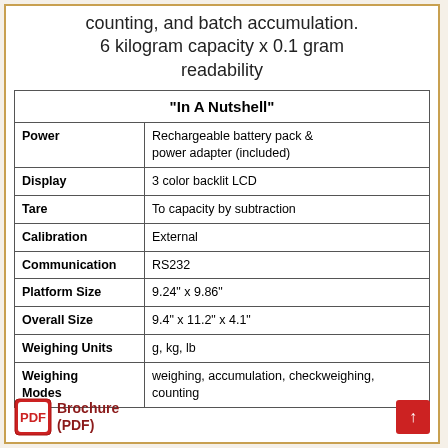counting, and batch accumulation. 6 kilogram capacity x 0.1 gram readability
| "In A Nutshell" |
| --- |
| Power | Rechargeable battery pack & power adapter (included) |
| Display | 3 color backlit LCD |
| Tare | To capacity by subtraction |
| Calibration | External |
| Communication | RS232 |
| Platform Size | 9.24" x 9.86" |
| Overall Size | 9.4" x 11.2" x 4.1" |
| Weighing Units | g, kg, lb |
| Weighing Modes | weighing, accumulation, checkweighing, counting |
Brochure (PDF)